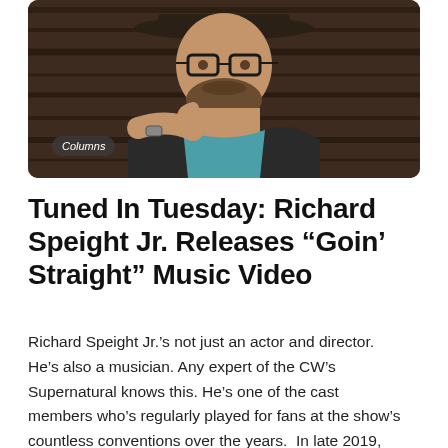[Figure (photo): A man wearing a wide-brimmed hat and thick-framed glasses, with a beard, pointing at himself and wearing a teal scarf and dark jacket, photographed in front of a dark wood background. A 'Columns' badge is overlaid on the lower left of the image.]
Tuned In Tuesday: Richard Speight Jr. Releases “Goin’ Straight” Music Video
Richard Speight Jr.’s not just an actor and director. He’s also a musician. Any expert of the CW’s Supernatural knows this. He’s one of the cast members who’s regularly played for fans at the show’s countless conventions over the years. In late 2019, he and his band Dick Jr. &